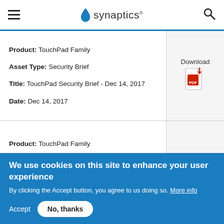synaptics
| Info | Action |
| --- | --- |
| Product: TouchPad Family
Asset Type: Security Brief
Title: TouchPad Security Brief - Dec 14, 2017
Date: Dec 14, 2017 | Download |
| Product: TouchPad Family
Asset Type: Security Brief
Title: TouchPad Security Brief - Jan 24, 2019
Date: Jan 24, 2019 | Download |
We use cookies on this site to enhance your user experience
By clicking the Accept button, you agree to us doing so. More info